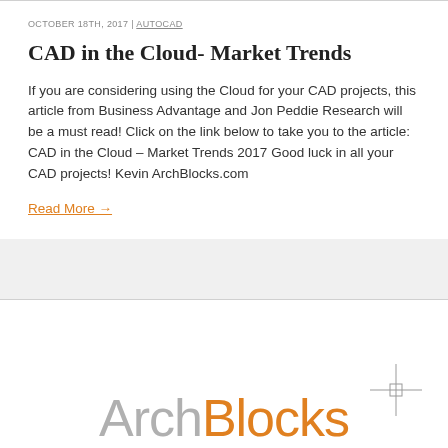OCTOBER 18TH, 2017 | AUTOCAD
CAD in the Cloud- Market Trends
If you are considering using the Cloud for your CAD projects, this article from Business Advantage and Jon Peddie Research will be a must read! Click on the link below to take you to the article: CAD in the Cloud – Market Trends 2017 Good luck in all your CAD projects! Kevin ArchBlocks.com
Read More →
[Figure (logo): ArchBlocks logo with gray 'Arch' and orange 'Blocks' text, with a crosshair/target symbol to the right]